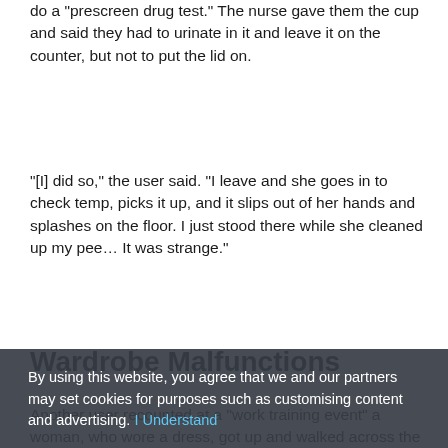do a prescreen drug test. The nurse gave them the cup and said they had to urinate in it and leave it on the counter, but not to put the lid on.
“[I] did so,” the user said. “I leave and she goes in to check temp, picks it up, and it slips out of her hands and splashes on the floor. I just stood there while she cleaned up my pee… It was strange.”
Wardrobe Malfunctions
Another user recounted at a “work training event” a woman, who wore a dress, got up and walked across the room. As she did so, her slip fell down around her ankles. She calmly stepped out of it, picked it up, and
By using this website, you agree that we and our partners may set cookies for purposes such as customising content and advertising. I Understand